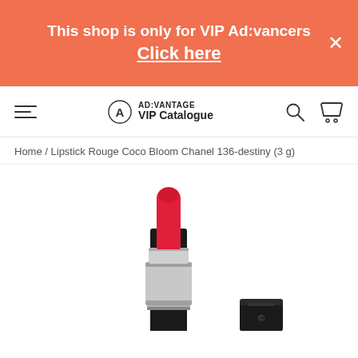This shop is only for VIP Ad:vancers
Click here
[Figure (logo): AD:VANTAGE VIP Catalogue logo with navigation bar including hamburger menu, search icon, and cart icon]
Home / Lipstick Rouge Coco Bloom Chanel 136-destiny (3 g)
[Figure (photo): Chanel Rouge Coco Bloom lipstick in shade 136-destiny showing the red bullet lipstick extended from its silver and black tube, alongside the black cap, on a white background]